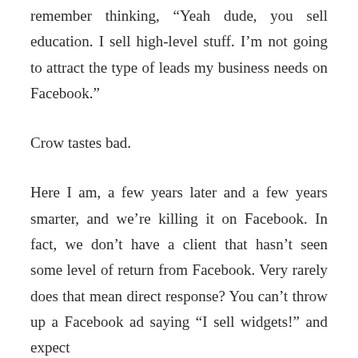remember thinking, “Yeah dude, you sell education. I sell high-level stuff. I’m not going to attract the type of leads my business needs on Facebook.”
Crow tastes bad.
Here I am, a few years later and a few years smarter, and we’re killing it on Facebook. In fact, we don’t have a client that hasn’t seen some level of return from Facebook. Very rarely does that mean direct response? You can’t throw up a Facebook ad saying “I sell widgets!” and expect